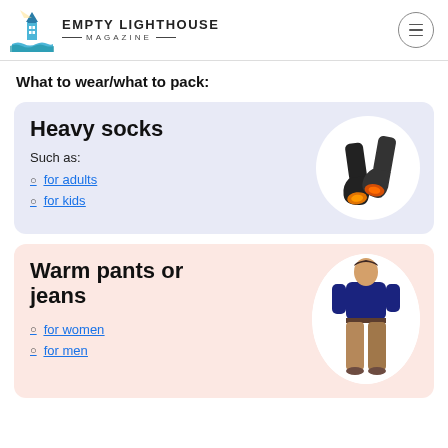EMPTY LIGHTHOUSE MAGAZINE
What to wear/what to pack:
Heavy socks
Such as:
for adults
for kids
[Figure (photo): Two black heavy socks with orange glowing heat pads on the soles]
Warm pants or jeans
for women
for men
[Figure (photo): A person wearing khaki warm pants and dark top]